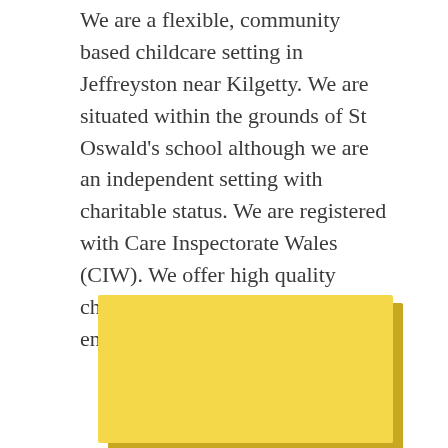We are a flexible, community based childcare setting in Jeffreyston near Kilgetty. We are situated within the grounds of St Oswald's school although we are an independent setting with charitable status. We are registered with Care Inspectorate Wales (CIW). We offer high quality childcare in a safe and stimulating environment.
[Figure (illustration): A yellow rectangular box with a darker golden shadow offset to the bottom-right, appearing like a sticky note or highlight block.]